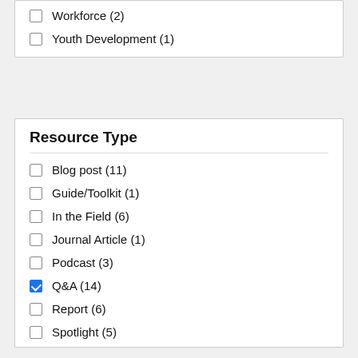Workforce (2)
Youth Development (1)
Resource Type
Blog post (11)
Guide/Toolkit (1)
In the Field (6)
Journal Article (1)
Podcast (3)
Q&A (14)
Report (6)
Spotlight (5)